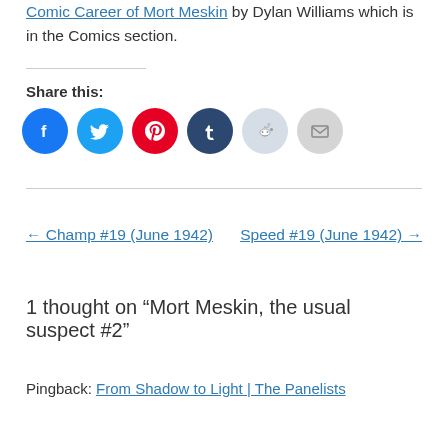Comic Career of Mort Meskin by Dylan Williams which is in the Comics section.
Share this:
[Figure (illustration): Row of social sharing icon buttons: Facebook (blue circle), Twitter (light blue circle), Pinterest (red circle), Tumblr (dark navy circle), Reddit (light blue-grey circle), Email (light grey circle)]
← Champ #19 (June 1942)
Speed #19 (June 1942) →
1 thought on "Mort Meskin, the usual suspect #2"
Pingback: From Shadow to Light | The Panelists